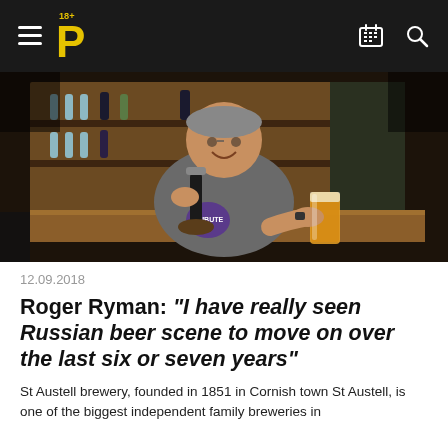18+ P [hamburger menu, calendar icon, search icon]
[Figure (photo): A man in a grey t-shirt with 'Tribute' logo holding a pint of beer at a bar, smiling at the camera. Behind him are shelves with bottles.]
12.09.2018
Roger Ryman: “I have really seen Russian beer scene to move on over the last six or seven years”
St Austell brewery, founded in 1851 in Cornish town St Austell, is one of the biggest independent family breweries in the UK. In the past six years, Roger Ryman, the head brewer,